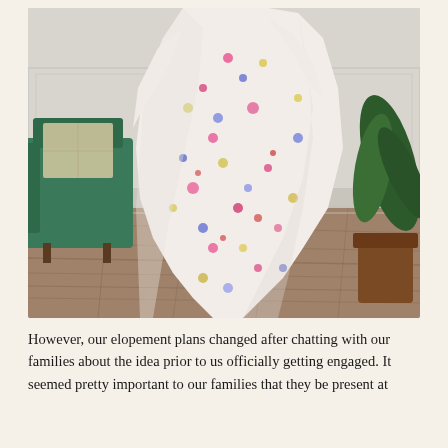[Figure (photo): A person wearing a flowing white floral dress with colorful flower print (pink, blue, yellow, purple blooms), spinning or twirling. Background shows a room with wood floors, white wainscoting walls, a green velvet armchair with a patterned throw pillow, and a potted plant in a wicker basket on the right.]
However, our elopement plans changed after chatting with our families about the idea prior to us officially getting engaged. It seemed pretty important to our families that they be present at the ceremony so we were essentially talked out of it.